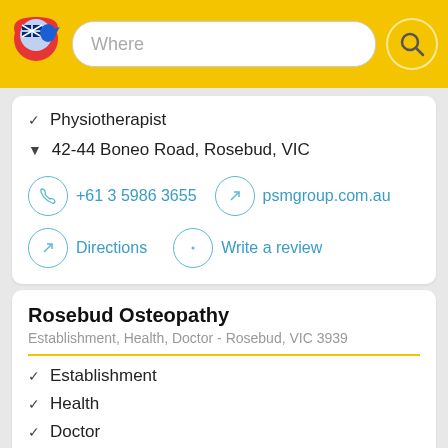[Figure (screenshot): Yellow header bar with Australian location logo, 'Where' search box, and search button icon]
✓ Physiotherapist
▼ 42-44 Boneo Road, Rosebud, VIC
+61 3 5986 3655
psmgroup.com.au
Directions
Write a review
Rosebud Osteopathy
Establishment, Health, Doctor - Rosebud, VIC 3939
✓ Establishment
✓ Health
✓ Doctor
▼ Shop 3 Nepean Arcade, 1401 Point Nepean Road,